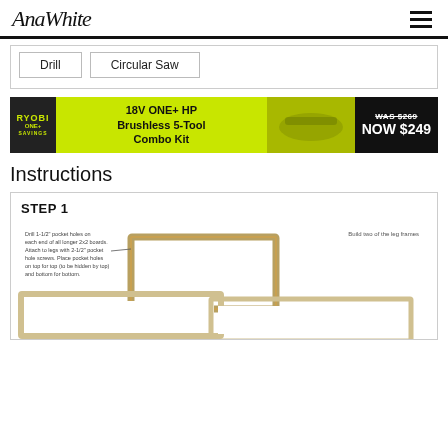AnaWhite
[Figure (other): Tool buttons: Drill, Circular Saw]
[Figure (other): Ryobi ad banner: 18V ONE+ HP Brushless 5-Tool Combo Kit. WAS $269, NOW $249]
Instructions
STEP 1
[Figure (illustration): Step 1 diagram showing two leg frames being built from 2x2 boards with pocket holes. Annotation reads: Drill 1-1/2 pocket holes on each end of all longer 2x2 boards. Attach to legs with 2-1/2 pocket hole screws. Place pocket holes on top for top (to be hidden by top) and bottom for bottom. Build two of the leg frames.]